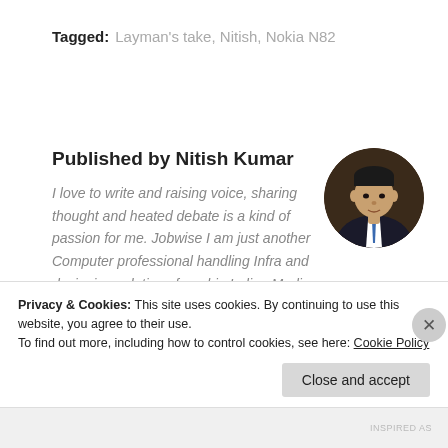Tagged: Layman's take, Nitish, Nokia N82
Published by Nitish Kumar
I love to write and raising voice, sharing thought and heated debate is a kind of passion for me. Jobwise I am just another Computer professional handling Infra and designing solutions for a big Indian Media house but I love to write,
[Figure (photo): Circular profile photo of Nitish Kumar, a man in a dark suit with a tie]
Privacy & Cookies: This site uses cookies. By continuing to use this website, you agree to their use.
To find out more, including how to control cookies, see here: Cookie Policy